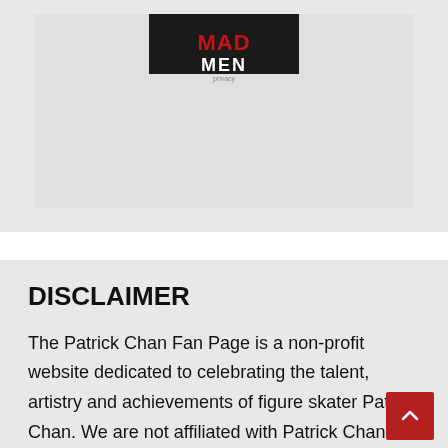[Figure (screenshot): Partial Mad Men book/DVD cover image with 'privacy' label overlay, shown inside a gray container box]
DISCLAIMER
The Patrick Chan Fan Page is a non-profit website dedicated to celebrating the talent, artistry and achievements of figure skater Patrick Chan. We are not affiliated with Patrick Chan or his representatives. Please read our disclaimer & terms of use HERE.